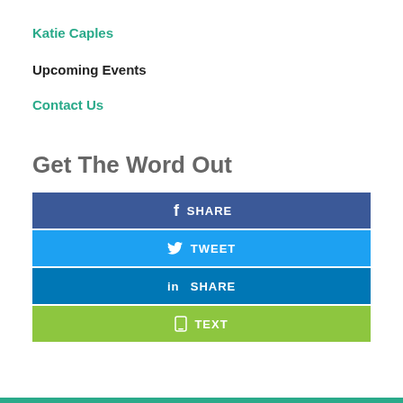Katie Caples
Upcoming Events
Contact Us
Get The Word Out
[Figure (infographic): Four social sharing buttons stacked vertically: Facebook SHARE (dark blue), Twitter TWEET (light blue), LinkedIn SHARE (medium blue), TEXT (green)]